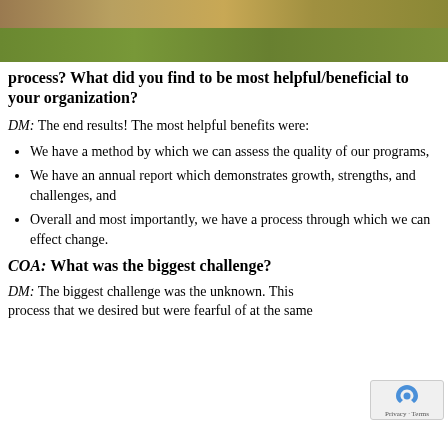[Figure (photo): Aerial or ground-level photo of grass/lawn showing brown and green patches]
process? What did you find to be most helpful/beneficial to your organization?
DM: The end results! The most helpful benefits were:
We have a method by which we can assess the quality of our programs,
We have an annual report which demonstrates growth, strengths, and challenges, and
Overall and most importantly, we have a process through which we can effect change.
COA: What was the biggest challenge?
DM: The biggest challenge was the unknown. This process that we desired but were fearful of at the same